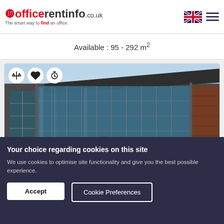officerentinfo.co.uk - The smart way to find an office.
Available : 95 - 292 m²
[Figure (photo): Glass-fronted modern commercial office building exterior with scale/compare, heart/favourite, and timer icons overlaid in top-left corner.]
Your choice regarding cookies on this site
We use cookies to optimise site functionality and give you the best possible experience.
Accept
Cookie Preferences